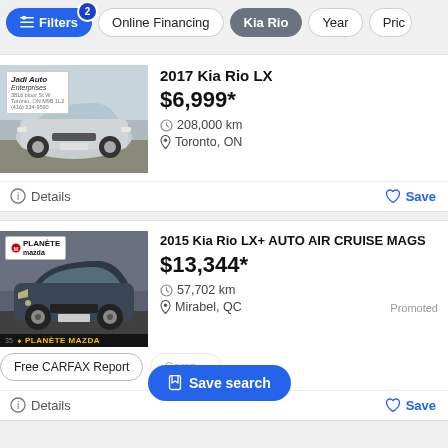Filters (2) | Online Financing | Kia Rio | Year | Pric
[Figure (photo): 2017 Kia Rio LX silver car front view with Jadi Auto Enterprises dealer badge]
2017 Kia Rio LX
$6,999*
208,000 km
Toronto, ON
Details    Save
[Figure (photo): 2015 Kia Rio LX+ dark grey/blue car front-side view with Planete Mazda dealer badge]
2015 Kia Rio LX+ AUTO AIR CRUISE MAGS
$13,344*
57,702 km
Mirabel, QC
Promoted
Free CARFAX Report    Compare    Save search
Details    Save